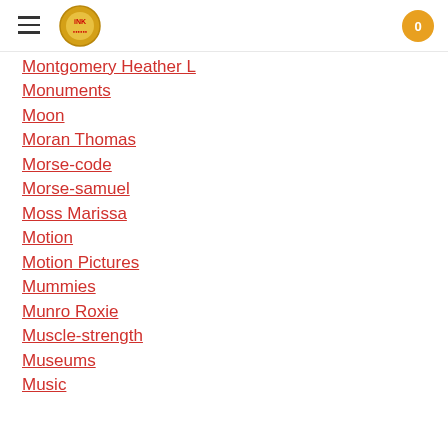INK logo, hamburger menu, cart button
Montgomery Heather L
Monuments
Moon
Moran Thomas
Morse-code
Morse-samuel
Moss Marissa
Motion
Motion Pictures
Mummies
Munro Roxie
Muscle-strength
Museums
Music